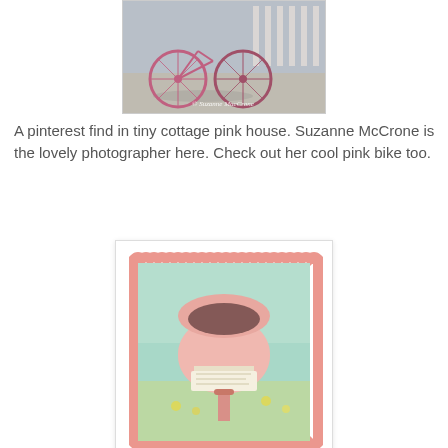[Figure (photo): Photo of pink bicycles with copyright watermark '© Suzanne MacCrone']
A pinterest find in tiny cottage pink house. Suzanne McCrone is the lovely photographer here. Check out her cool pink bike too.
[Figure (photo): Photo of a pink vintage mailbox filled with letters, framed with a decorative pink scalloped stamp border]
I would love to find my mail in this vintage mail box. It is so sweet. If you join my tea tyme giveaway maybe you will find a tea tyme surprise in your mail box. It is easy to enter:
1) Follow my blog